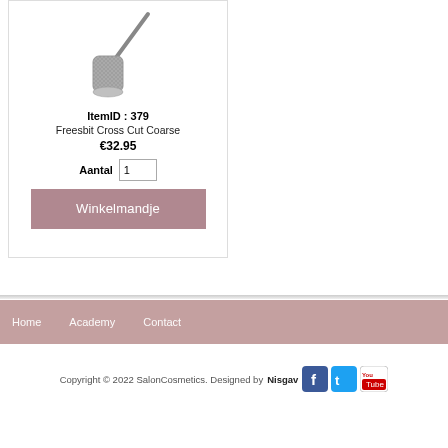[Figure (photo): Nail drill bit / freesbit tool with cylindrical grey abrasive head on a metal shank, photographed against white background]
ItemID : 379
Freesbit Cross Cut Coarse
€32.95
Aantal  1
Winkelmandje
Home   Academy   Contact
Copyright © 2022 SalonCosmetics. Designed by Nisgav